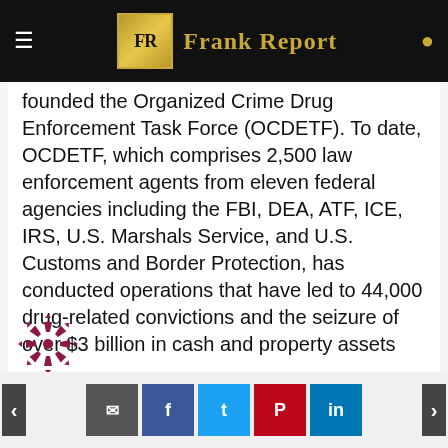Frank Report
founded the Organized Crime Drug Enforcement Task Force (OCDETF). To date, OCDETF, which comprises 2,500 law enforcement agents from eleven federal agencies including the FBI, DEA, ATF, ICE, IRS, U.S. Marshals Service, and U.S. Customs and Border Protection, has conducted operations that have led to 44,000 drug-related convictions and the seizure of over $3 billion in cash and property assets
https://en.wikipedia.org/wiki/Dan_K._Webb
REPLY
[Figure (logo): Circular decorative avatar/logo mark with arrow-like shapes in dark red/maroon color]
Navigation buttons: previous, comment, facebook, twitter, pinterest, linkedin, next